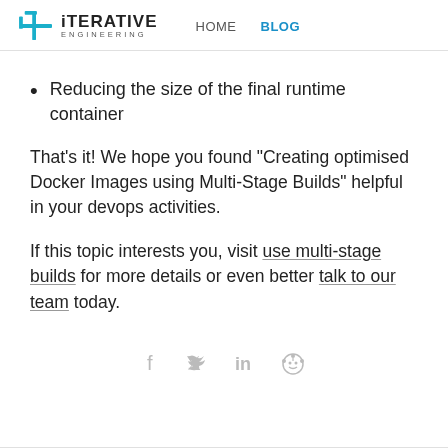iTERATIVE ENGINEERING  HOME  BLOG
Reducing the size of the final runtime container
That’s it! We hope you found “Creating optimised Docker Images using Multi-Stage Builds” helpful in your devops activities.
If this topic interests you, visit use multi-stage builds for more details or even better talk to our team today.
[Figure (other): Social media sharing icons: Facebook, Twitter, LinkedIn, Reddit]